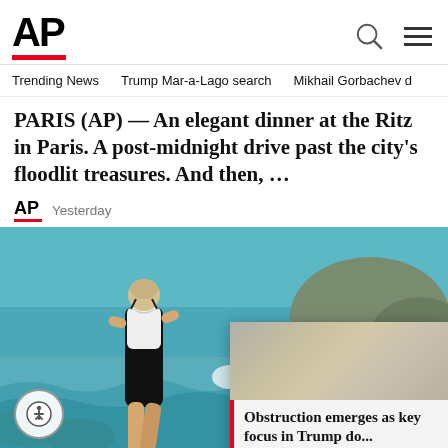AP
Trending News   Trump Mar-a-Lago search   Mikhail Gorbachev d
PARIS (AP) — An elegant dinner at the Ritz in Paris. A post-midnight drive past the city's floodlit treasures. And then, …
Yesterday
[Figure (photo): Photo of a woman in a black and white swimsuit walking on rocky coastline with ocean waves in background, with a popup overlay showing 'Obstruction emerges as key focus in Trump do...']
Obstruction emerges as key focus in Trump do...
Diana's last moments: From d